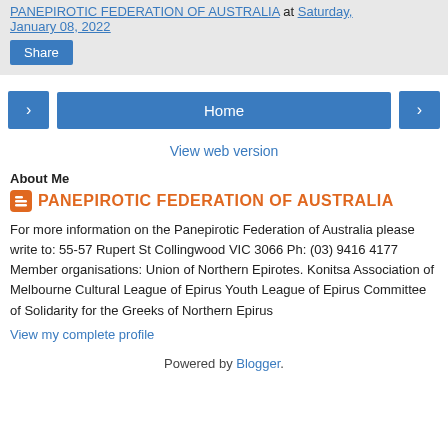PANEPIROTIC FEDERATION OF AUSTRALIA at Saturday, January 08, 2022
Share
< Home >
View web version
About Me
PANEPIROTIC FEDERATION OF AUSTRALIA
For more information on the Panepirotic Federation of Australia please write to: 55-57 Rupert St Collingwood VIC 3066 Ph: (03) 9416 4177 Member organisations: Union of Northern Epirotes. Konitsa Association of Melbourne Cultural League of Epirus Youth League of Epirus Committee of Solidarity for the Greeks of Northern Epirus
View my complete profile
Powered by Blogger.